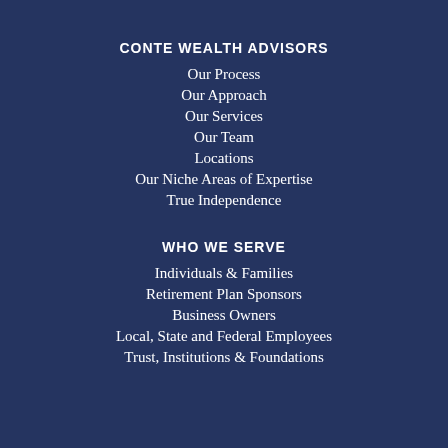CONTE WEALTH ADVISORS
Our Process
Our Approach
Our Services
Our Team
Locations
Our Niche Areas of Expertise
True Independence
WHO WE SERVE
Individuals & Families
Retirement Plan Sponsors
Business Owners
Local, State and Federal Employees
Trust, Institutions & Foundations